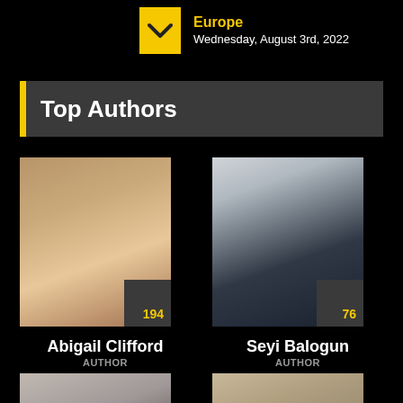Europe
Wednesday, August 3rd, 2022
Top Authors
[Figure (photo): Profile photo of Abigail Clifford with count badge 194]
Abigail Clifford
AUTHOR
[Figure (photo): Profile photo of Seyi Balogun with count badge 76]
Seyi Balogun
AUTHOR
[Figure (photo): Profile photo (partial) with count badge 79]
[Figure (photo): Profile photo (partial) with count badge 31]